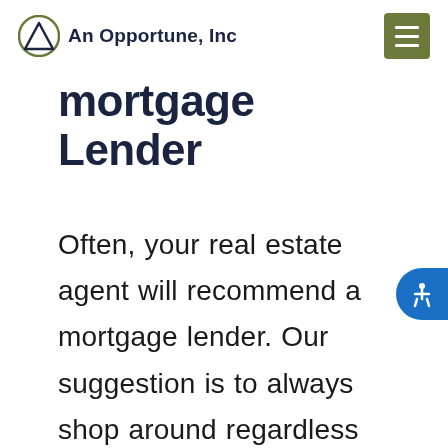An Opportune, Inc
mortgage Lender
Often, your real estate agent will recommend a mortgage lender. Our suggestion is to always shop around regardless and check with several lenders to get a complete picture of your unique loan and rate options. A real estate agent may have